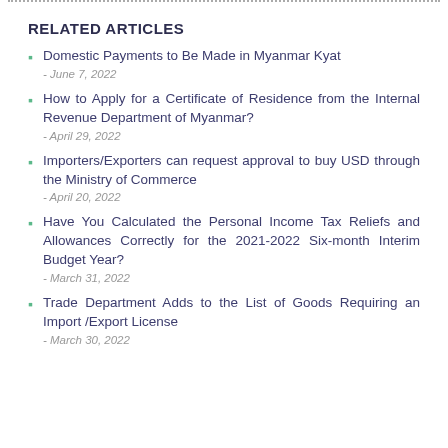RELATED ARTICLES
Domestic Payments to Be Made in Myanmar Kyat - June 7, 2022
How to Apply for a Certificate of Residence from the Internal Revenue Department of Myanmar? - April 29, 2022
Importers/Exporters can request approval to buy USD through the Ministry of Commerce - April 20, 2022
Have You Calculated the Personal Income Tax Reliefs and Allowances Correctly for the 2021-2022 Six-month Interim Budget Year? - March 31, 2022
Trade Department Adds to the List of Goods Requiring an Import /Export License - March 30, 2022